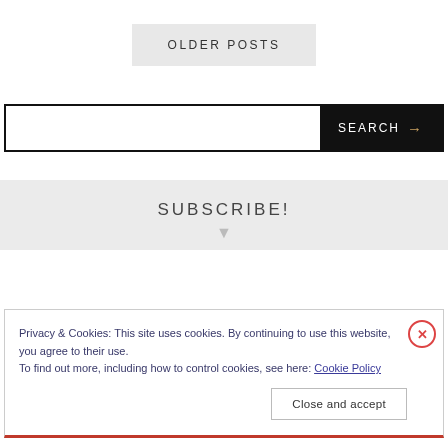OLDER POSTS
SEARCH →
SUBSCRIBE!
Privacy & Cookies: This site uses cookies. By continuing to use this website, you agree to their use.
To find out more, including how to control cookies, see here: Cookie Policy
Close and accept